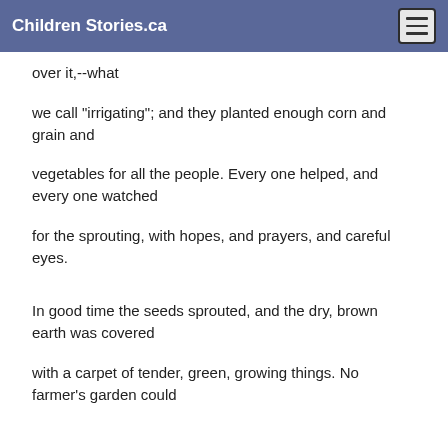Children Stories.ca
over it,--what
we call "irrigating"; and they planted enough corn and grain and
vegetables for all the people. Every one helped, and every one watched
for the sprouting, with hopes, and prayers, and careful eyes.
In good time the seeds sprouted, and the dry, brown earth was covered
with a carpet of tender, green, growing things. No farmer's garden could